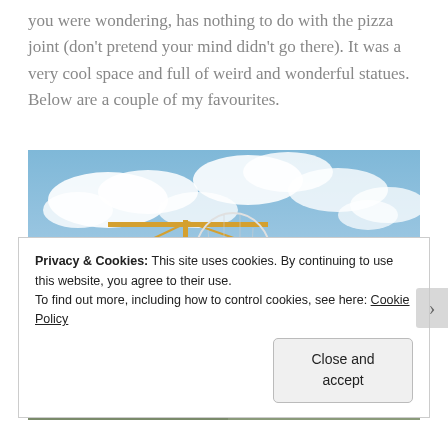you were wondering, has nothing to do with the pizza joint (don't pretend your mind didn't go there). It was a very cool space and full of weird and wonderful statues. Below are a couple of my favourites.
[Figure (photo): Outdoor photograph of a large white lattice/mesh human figure sculpture (torso and head shape) against a cloudy blue sky, with a yellow construction crane in the background on the left and a multi-story building on the right.]
Privacy & Cookies: This site uses cookies. By continuing to use this website, you agree to their use.
To find out more, including how to control cookies, see here: Cookie Policy
Close and accept